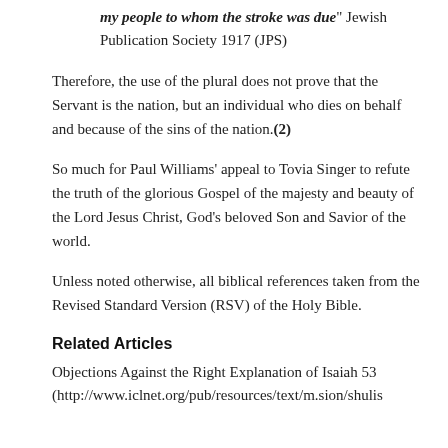“my people to whom the stroke was due” Jewish Publication Society 1917 (JPS)
Therefore, the use of the plural does not prove that the Servant is the nation, but an individual who dies on behalf and because of the sins of the nation.(2)
So much for Paul Williams’ appeal to Tovia Singer to refute the truth of the glorious Gospel of the majesty and beauty of the Lord Jesus Christ, God’s beloved Son and Savior of the world.
Unless noted otherwise, all biblical references taken from the Revised Standard Version (RSV) of the Holy Bible.
Related Articles
Objections Against the Right Explanation of Isaiah 53 (http://www.iclnet.org/pub/resources/text/m.sion/shulis